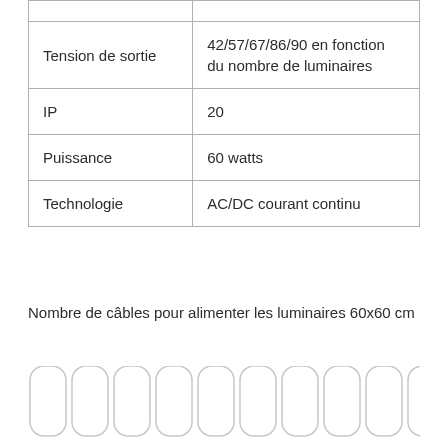| Tension de sortie | 42/57/67/86/90 en fonction du nombre de luminaires |
| IP | 20 |
| Puissance | 60 watts |
| Technologie | AC/DC courant continu |
Nombre de câbles pour alimenter les luminaires 60x60 cm
[Figure (illustration): Row of rounded-bottom cable connector shapes at the bottom of the page]